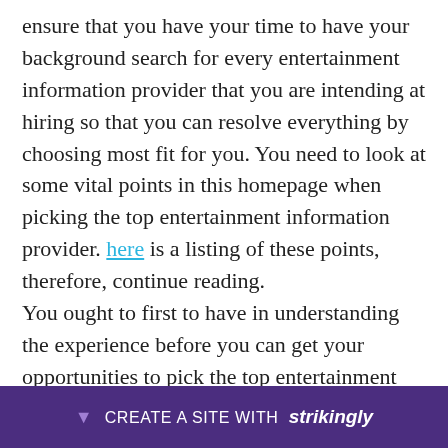ensure that you have your time to have your background search for every entertainment information provider that you are intending at hiring so that you can resolve everything by choosing most fit for you. You need to look at some vital points in this homepage when picking the top entertainment information provider. here is a listing of these points, therefore, continue reading.
You ought to first to have in understanding the experience before you can get your opportunities to pick the top entertainment information provider. In this plot, you ought to more dedicated to se... provi... ir
[Figure (other): Purple banner at bottom: downward arrow, 'CREATE A SITE WITH strikingly' text in white on purple background]